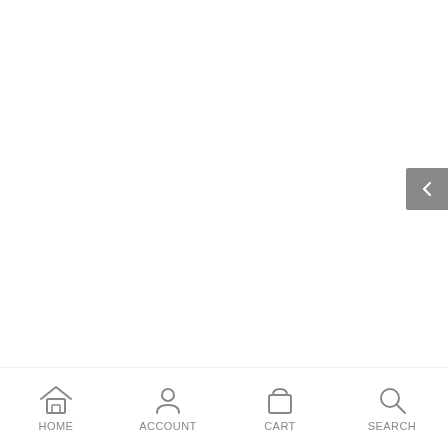[Figure (screenshot): Gray back/chevron navigation button on the right edge of the screen]
HOME  ACCOUNT  CART  SEARCH